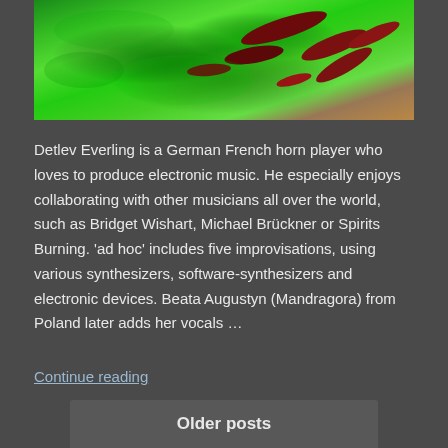[Figure (photo): Abstract colorful image with green hues and dark red/brown irregular shapes, resembling a satellite or microscopic view]
Detlev Everling is a German French horn player who loves to produce electronic music. He especially enjoys collaborating with other musicians all over the world, such as Bridget Wishart, Michael Brückner or Spirits Burning. 'ad hoc' includes five improvisations, using various synthesizers, software-synthesizers and electronic devices. Beata Augustyn (Mandragora) from Poland later adds her vocals …
Continue reading
Older posts